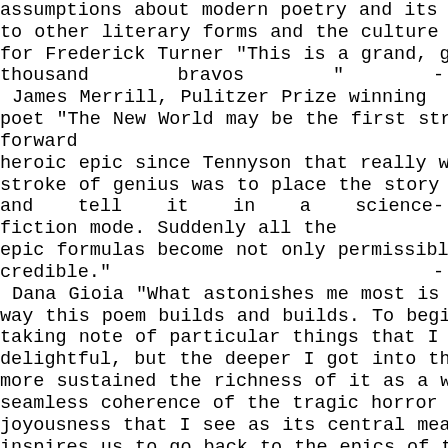assumptions about modern poetry and its relationship to other literary forms and the culture at large. Praise for Frederick Turner "This is a grand, glowing poem.... A thousand bravos " - James Merrill, Pulitzer Prize winning poet "The New World may be the first straight-forward heroic epic since Tennyson that really works. Turner's stroke of genius was to place the story in the future and tell it in a science-fiction mode. Suddenly all the epic formulas become not only permissible again but credible." - Dana Gioia "What astonishes me most is the way this poem builds and builds. To begin with, I was taking note of particular things that I found thrilling or delightful, but the deeper I got into the narrative, the more sustained the richness of it as a whole, and the seamless coherence of the tragic horror with the joyousness that I see as its central meaning. The poem inspires us to go back to the epics of the past, whose roots it shows us to be so much alive after all." - Amy Clampitt "If the use of epic poetry is to be more than a